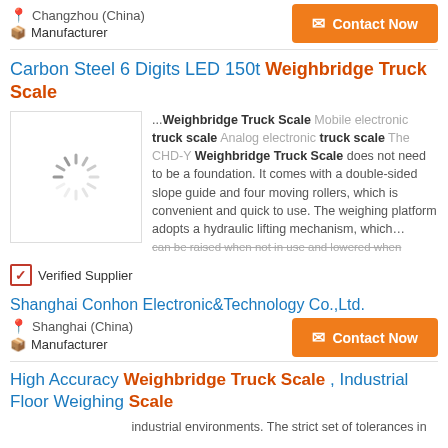Changzhou (China)
Manufacturer
Contact Now
Carbon Steel 6 Digits LED 150t Weighbridge Truck Scale
[Figure (photo): Loading spinner placeholder image for product]
...Weighbridge Truck Scale Mobile electronic truck scale Analog electronic truck scale The CHD-Y Weighbridge Truck Scale does not need to be a foundation. It comes with a double-sided slope guide and four moving rollers, which is convenient and quick to use. The weighing platform adopts a hydraulic lifting mechanism, which… can be raised when not in use and lowered when
Verified Supplier
Shanghai Conhon Electronic&Technology Co.,Ltd.
Shanghai (China)
Manufacturer
Contact Now
High Accuracy Weighbridge Truck Scale , Industrial Floor Weighing Scale
industrial environments. The strict set of tolerances in